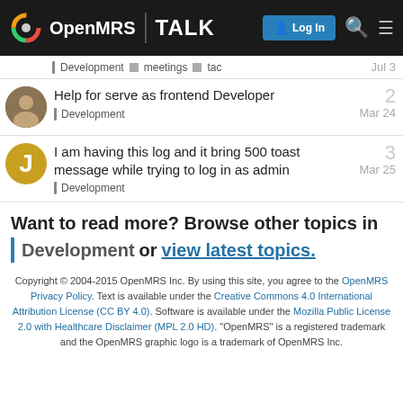OpenMRS TALK — Log In
Development meetings tac — Jul 3
Help for serve as frontend Developer — Development — Mar 24 — 2 replies
I am having this log and it bring 500 toast message while trying to log in as admin — Development — Mar 25 — 3 replies
Want to read more? Browse other topics in Development or view latest topics.
Copyright © 2004-2015 OpenMRS Inc. By using this site, you agree to the OpenMRS Privacy Policy. Text is available under the Creative Commons 4.0 International Attribution License (CC BY 4.0). Software is available under the Mozilla Public License 2.0 with Healthcare Disclaimer (MPL 2.0 HD). "OpenMRS" is a registered trademark and the OpenMRS graphic logo is a trademark of OpenMRS Inc.